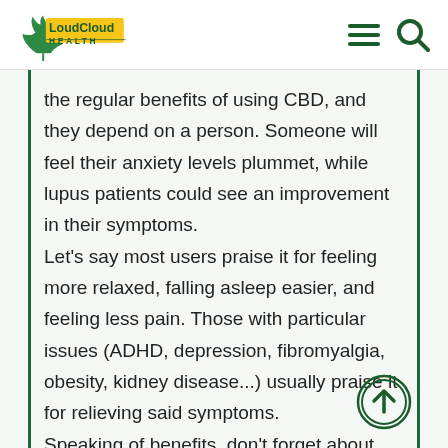LoudCloud HEALTH
the regular benefits of using CBD, and they depend on a person. Someone will feel their anxiety levels plummet, while lupus patients could see an improvement in their symptoms.
Let's say most users praise it for feeling more relaxed, falling asleep easier, and feeling less pain. Those with particular issues (ADHD, depression, fibromyalgia, obesity, kidney disease...) usually praise it for relieving said symptoms.
Speaking of benefits, don't forget about the side effects of CBD, as they may occur as well, with or without the interaction with some medications.